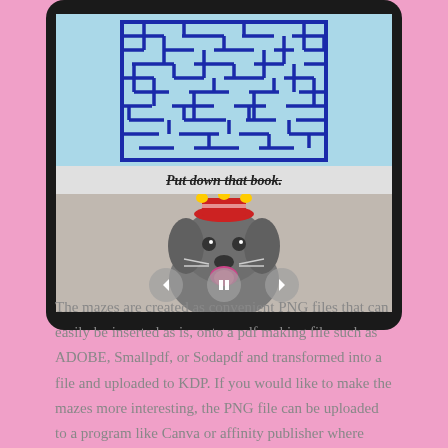[Figure (screenshot): A tablet device showing a slideshow: top half shows a cyan maze puzzle image, with 'Put down that book.' text overlay (bold italic strikethrough), and bottom half shows a photo of a small grey schnauzer dog wearing a red crown/hat, with navigation arrows and pause button.]
The mazes are created as convenient PNG files that can easily be inserted as is, onto a pdf making file such as ADOBE, Smallpdf, or Sodapdf and transformed into a file and uploaded to KDP. If you would like to make the mazes more interesting, the PNG file can be uploaded to a program like Canva or affinity publisher where other elements can be added to enhance your mazes.